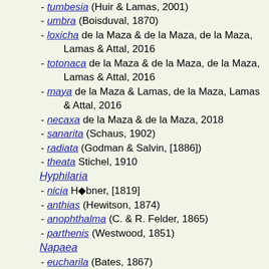- tumbesia (Huir & Lamas, 2001)
- umbra (Boisduval, 1870)
- loxicha de la Maza & de la Maza, de la Maza, Lamas & Attal, 2016
- totonaca de la Maza & de la Maza, de la Maza, Lamas & Attal, 2016
- maya de la Maza & Lamas, de la Maza, Lamas & Attal, 2016
- necaxa de la Maza & de la Maza, 2018
- sanarita (Schaus, 1902)
- radiata (Godman & Salvin, [1886])
- theata Stichel, 1910
Hyphilaria
- nicia H◆bner, [1819]
- anthias (Hewitson, 1874)
- anophthalma (C. & R. Felder, 1865)
- parthenis (Westwood, 1851)
Napaea
- eucharila (Bates, 1867)
- zikani Stichel, 1923
- elisae (Zik◆n, 1952)
- melampia (Bates, 1867)
- merula (Thieme, 1907)
- paupercula Zik◆n, 1952
- (M◆◆◆◆, 1977)